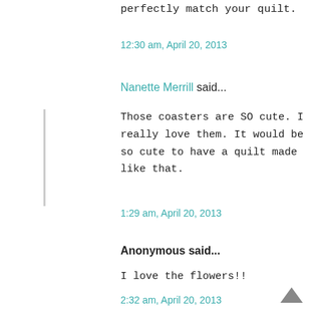perfectly match your quilt.
12:30 am, April 20, 2013
Nanette Merrill said...
Those coasters are SO cute. I really love them. It would be so cute to have a quilt made like that.
1:29 am, April 20, 2013
Anonymous said...
I love the flowers!!
2:32 am, April 20, 2013
Carla said...
How cute Lucy. I still love your quilt too ; )